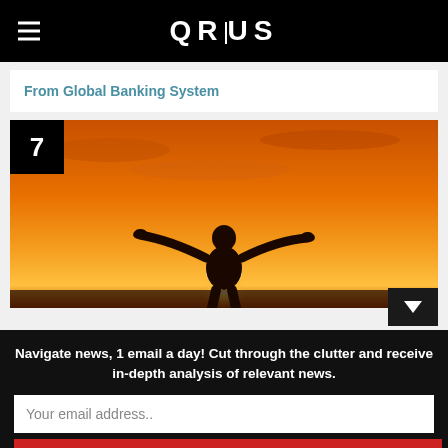QRIUS
From Global Banking System
[Figure (photo): Silhouette of a person with arms outstretched against a vivid orange sunset sky, with number badge '7' in top-left corner]
Navigate news, 1 email a day! Cut through the clutter and receive in-depth analysis of relevant news.
Your email address..
Subscribe